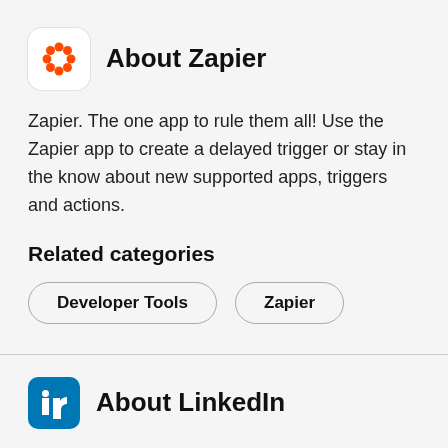About Zapier
Zapier. The one app to rule them all! Use the Zapier app to create a delayed trigger or stay in the know about new supported apps, triggers and actions.
Related categories
Developer Tools
Zapier
About LinkedIn
LinkedIn is the world's largest social network for